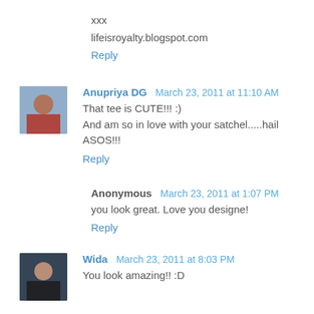xxx
lifeisroyalty.blogspot.com
Reply
Anupriya DG  March 23, 2011 at 11:10 AM
That tee is CUTE!!! :)
And am so in love with your satchel.....hail ASOS!!!
Reply
Anonymous  March 23, 2011 at 1:07 PM
you look great. Love you designe!
Reply
Wida  March 23, 2011 at 8:03 PM
You look amazing!! :D